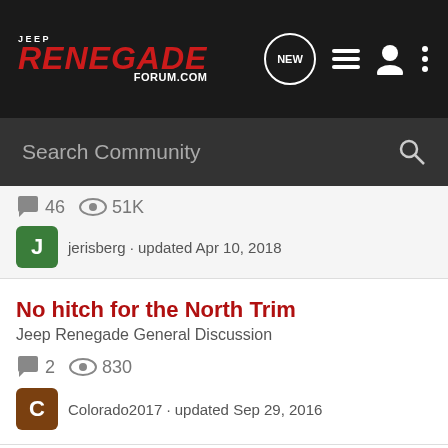Jeep Renegade Forum.com
Search Community
46 comments · 51K views · jerisberg · updated Apr 10, 2018
No hitch for the North Trim · Jeep Renegade General Discussion · 2 comments · 830 views · Colorado2017 · updated Sep 29, 2016
bumpers · Aftermarket & Add ons · 16 comments · 7K views · firogrl21 · updated Mar 19, 2020